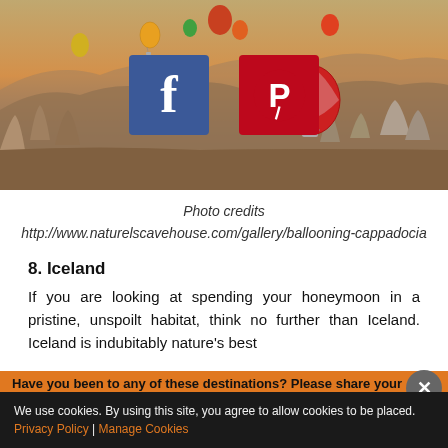[Figure (photo): Hot air balloons over Cappadocia landscape with rocky terrain, social sharing icons (Facebook and Pinterest) overlaid on the image]
Photo credits
http://www.naturelscavehouse.com/gallery/ballooning-cappadocia
8. Iceland
If you are looking at spending your honeymoon in a pristine, unspoilt habitat, think no further than Iceland. Iceland is indubitably nature's best
Have you been to any of these destinations? Please share your
We use cookies. By using this site, you agree to allow cookies to be placed. Privacy Policy | Manage Cookies